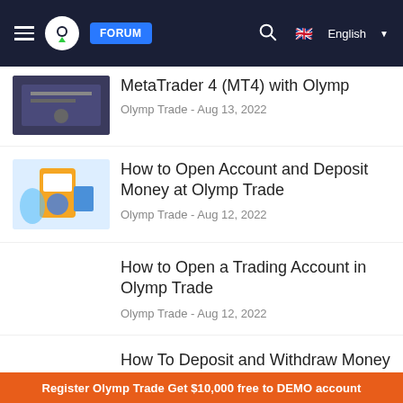FORUM | English
MetaTrader 4 (MT4) with Olymp
Olymp Trade - Aug 13, 2022
How to Open Account and Deposit Money at Olymp Trade
Olymp Trade - Aug 12, 2022
How to Open a Trading Account in Olymp Trade
Olymp Trade - Aug 12, 2022
How To Deposit and Withdraw Money from Olymp Trade With a
Olymp Trade - Aug 12, 2022
Register Olymp Trade Get $10,000 free to DEMO account